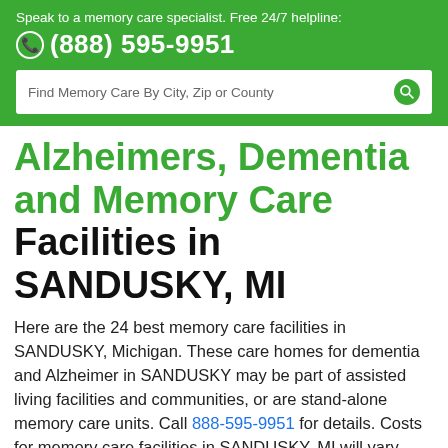Speak to a memory care specialist. Free 24/7 helpline: (888) 595-9951
Alzheimers, Dementia and Memory Care Facilities in SANDUSKY, MI
Here are the 24 best memory care facilities in SANDUSKY, Michigan. These care homes for dementia and Alzheimer in SANDUSKY may be part of assisted living facilities and communities, or are stand-alone memory care units. Call 888-595-9951 for details. Costs for memory care facilities in SANDUSKY, MI will vary between...